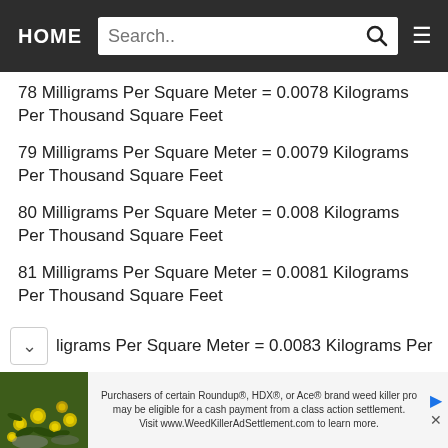HOME | Search..
78 Milligrams Per Square Meter = 0.0078 Kilograms Per Thousand Square Feet
79 Milligrams Per Square Meter = 0.0079 Kilograms Per Thousand Square Feet
80 Milligrams Per Square Meter = 0.008 Kilograms Per Thousand Square Feet
81 Milligrams Per Square Meter = 0.0081 Kilograms Per Thousand Square Feet
82 Milligrams Per Square Meter = 0.0082 Kilograms Per Thousand Square Feet
ligrams Per Square Meter = 0.0083 Kilograms Per
[Figure (photo): Yellow flowers on green plant — advertisement photo for Roundup weed killer class action settlement]
Purchasers of certain Roundup®, HDX®, or Ace® brand weed killer pro may be eligible for a cash payment from a class action settlement. Visit www.WeedKillerAdSettlement.com to learn more.